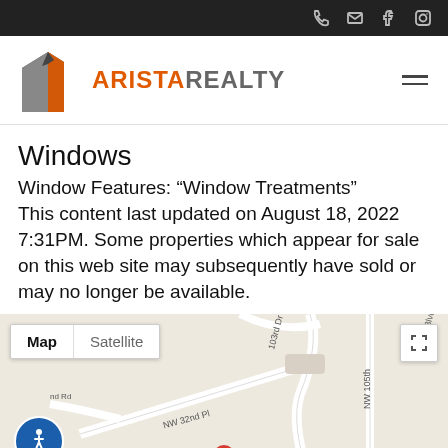Arista Realty — navigation header with phone, email, facebook, instagram icons and hamburger menu
[Figure (logo): Arista Realty logo: geometric house icon in dark gray and orange, with text ARISTA REALTY in orange and gray]
Windows
Window Features: “Window Treatments”
This content last updated on August 18, 2022 7:31PM. Some properties which appear for sale on this web site may subsequently have sold or may no longer be available.
[Figure (map): Google Map showing street map with NW 32nd Pl, NW 103rd Dr, NW 105th, and surrounding roads. Map and Satellite toggle buttons visible at top left, fullscreen button top right, accessibility icon bottom left, red location pin at bottom center.]